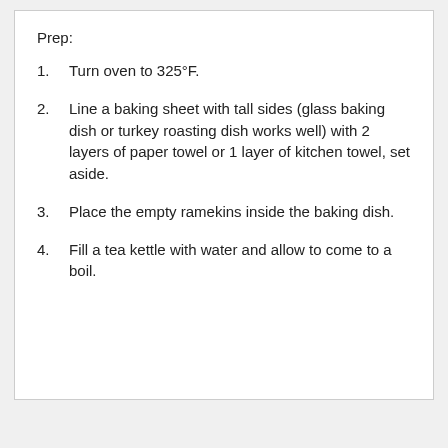Prep:
Turn oven to 325°F.
Line a baking sheet with tall sides (glass baking dish or turkey roasting dish works well) with 2 layers of paper towel or 1 layer of kitchen towel, set aside.
Place the empty ramekins inside the baking dish.
Fill a tea kettle with water and allow to come to a boil.